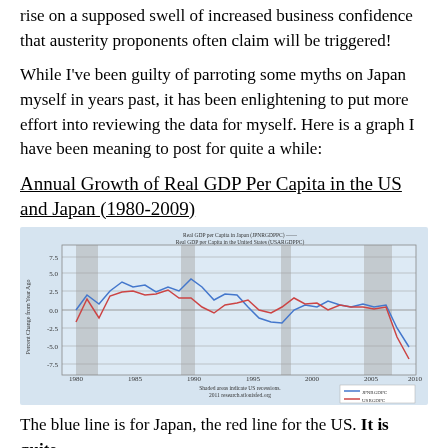rise on a supposed swell of increased business confidence that austerity proponents often claim will be triggered!
While I've been guilty of parroting some myths on Japan myself in years past, it has been enlightening to put more effort into reviewing the data for myself. Here is a graph I have been meaning to post for quite a while:
Annual Growth of Real GDP Per Capita in the US and Japan (1980-2009)
[Figure (line-chart): Line chart showing real GDP per capita growth for Japan (blue line) and the United States (red line) from 1980 to 2009. Shaded areas indicate US recessions. Source: 2011 research.stlouisfed.org]
The blue line is for Japan, the red line for the US. It is quite